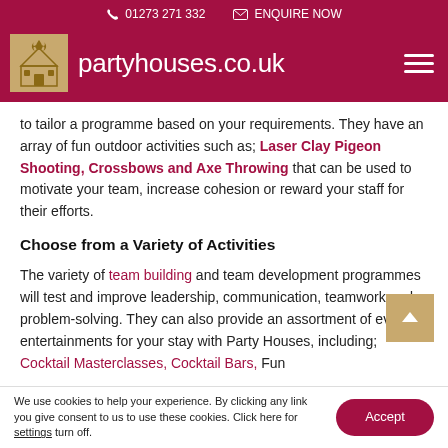01273 271 332   ENQUIRE NOW   partyhouses.co.uk
to tailor a programme based on your requirements. They have an array of fun outdoor activities such as; Laser Clay Pigeon Shooting, Crossbows and Axe Throwing that can be used to motivate your team, increase cohesion or reward your staff for their efforts.
Choose from a Variety of Activities
The variety of team building and team development programmes will test and improve leadership, communication, teamwork and problem-solving. They can also provide an assortment of evening entertainments for your stay with Party Houses, including; Cocktail Masterclasses, Cocktail Bars, Fun
We use cookies to help your experience. By clicking any link you give consent to us to use these cookies. Click here for settings turn off.